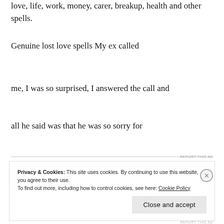love, life, work, money, carer, breakup, health and other spells.
Genuine lost love spells My ex called
me, I was so surprised, I answered the call and
all he said was that he was so sorry for
REPORT THIS AD
Privacy & Cookies: This site uses cookies. By continuing to use this website, you agree to their use.
To find out more, including how to control cookies, see here: Cookie Policy
Close and accept
REPORT THIS AD